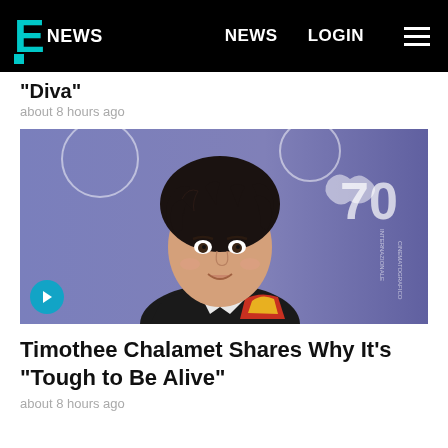E! NEWS  NEWS  LOGIN
"Diva"
about 8 hours ago
[Figure (photo): Timothee Chalamet at the Venice Film Festival, wearing a dark jacket with colorful embroidery, smiling, with a blue photocall backdrop and Venice Film Festival 70th anniversary logo visible.]
Timothee Chalamet Shares Why It's "Tough to Be Alive"
about 8 hours ago